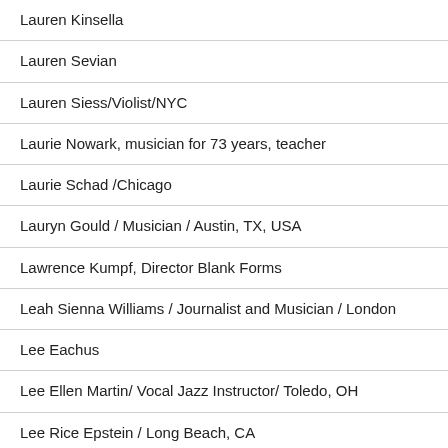Lauren Kinsella
Lauren Sevian
Lauren Siess/Violist/NYC
Laurie Nowark, musician for 73 years, teacher
Laurie Schad /Chicago
Lauryn Gould / Musician / Austin, TX, USA
Lawrence Kumpf, Director Blank Forms
Leah Sienna Williams / Journalist and Musician / London
Lee Eachus
Lee Ellen Martin/ Vocal Jazz Instructor/ Toledo, OH
Lee Rice Epstein / Long Beach, CA